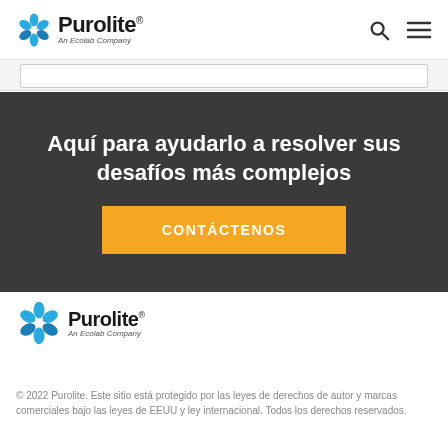Purolite — An Ecolab Company
Aquí para ayudarlo a resolver sus desafíos más complejos
CONTÁCTENOS
[Figure (logo): Purolite An Ecolab Company logo in footer]
© 2022 Purolite. Este sitio está protegido por las leyes de derechos de autor y marcas comerciales bajo las leyes de EEUU y ley internacional. Todos los derechos reservados.